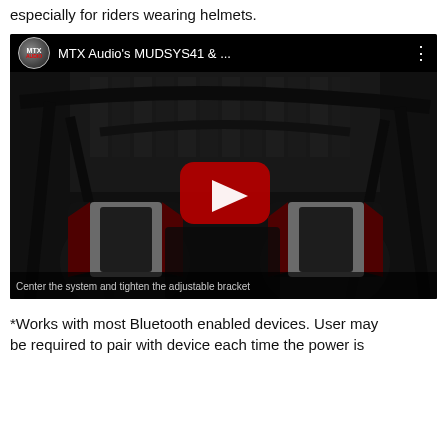especially for riders wearing helmets.
[Figure (screenshot): YouTube video thumbnail showing MTX Audio's MUDSYS41 product. The video title reads 'MTX Audio's MUDSYS41 & ...' with the MTX logo on the left and a three-dot menu on the right. The video scene shows the interior of an off-road vehicle (UTV/SxS) with a roll cage and racing seats in red/white/black. A red YouTube play button is centered. A subtitle at the bottom reads 'Center the system and tighten the adjustable bracket'.]
*Works with most Bluetooth enabled devices. User may be required to pair with device each time the power is